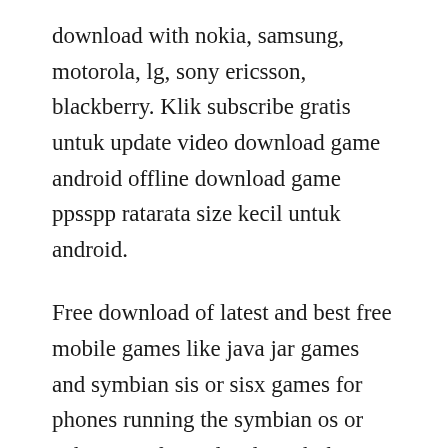download with nokia, samsung, motorola, lg, sony ericsson, blackberry. Klik subscribe gratis untuk update video download game android offline download game ppsspp ratarata size kecil untuk android.
Free download of latest and best free mobile games like java jar games and symbian sis or sisx games for phones running the symbian os or apk games for android. With the iphone being touted as the next big thing in handheld portable gaming devices, its time to put that claim to the test and see just how. Its possible